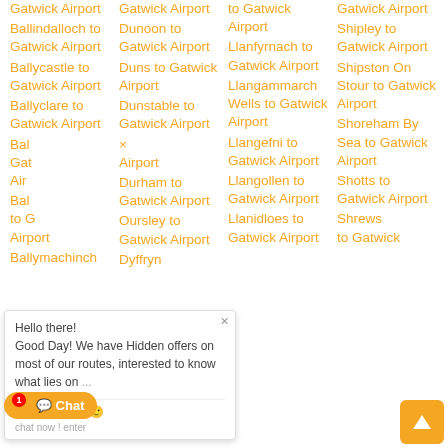Gatwick Airport
Ballindalloch to Gatwick Airport
Ballycastle to Gatwick Airport
Ballyclare to Gatwick Airport
Bal... Gatwick Airport
Bal... to Gatwick Airport
Ballymachinch
Gatwick Airport
Dunoon to Gatwick Airport
Duns to Gatwick Airport
Dunstable to Gatwick Airport
Durham to Gatwick Airport
Oursley to Gatwick Airport
Dyffryn
to Gatwick Airport
Llanfyrnach to Gatwick Airport
Llangammarch Wells to Gatwick Airport
Llangefni to Gatwick Airport
Llangollen to Gatwick Airport
Llanidloes to Gatwick Airport
Gatwick Airport
Shipley to Gatwick Airport
Shipston On Stour to Gatwick Airport
Shoreham By Sea to Gatwick Airport
Shotts to Gatwick Airport
Shrews... to Gatwick Airport